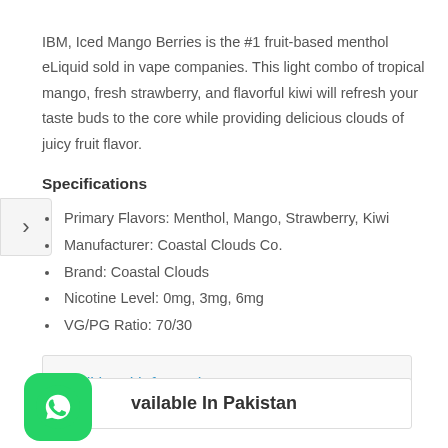IBM, Iced Mango Berries is the #1 fruit-based menthol eLiquid sold in vape companies. This light combo of tropical mango, fresh strawberry, and flavorful kiwi will refresh your taste buds to the core while providing delicious clouds of juicy fruit flavor.
Specifications
Primary Flavors: Menthol, Mango, Strawberry, Kiwi
Manufacturer: Coastal Clouds Co.
Brand: Coastal Clouds
Nicotine Level: 0mg, 3mg, 6mg
VG/PG Ratio: 70/30
Additional information
Available In Pakistan